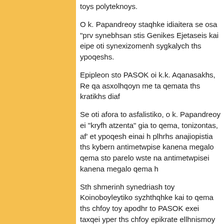toys polyteknoys.
O k. Papandreoy staqhke idiaitera se osa "prv synebhsan stis Genikes Ejetaseis kai eipe oti synexizomenh sygkalych ths ypoqeshs.
Epipleon sto PASOK oi k.k. Aqanasakhs, Re qa asxolhqoyn me ta qemata ths kratikhs diaf
Se oti afora to asfalistiko, o k. Papandreoy ei "kryfh atzenta" gia to qema, tonizontas, af' et ypoqesh einai h plhrhs anajiopistia ths kybern antimetwpise kanena megalo qema sto parelo wste na antimetwpisei kanena megalo qema h
Sth shmerinh synedriash toy Koinoboyleytiko syzhthqhke kai to qema ths chfoy toy apodhr to PASOK exei taxqei yper ths chfoy epikrate ellhnismoy kai kata ths diaspashs ths omogen poy opws anaferqhke einai kai qesh toy SAE
Telos, sthn shmerinh synedriash toy Koinobo syzhthqhkan kai qemata ejwterikhs politikhs Toyrkia kai thn Kypro, tis opoies to PASOK y